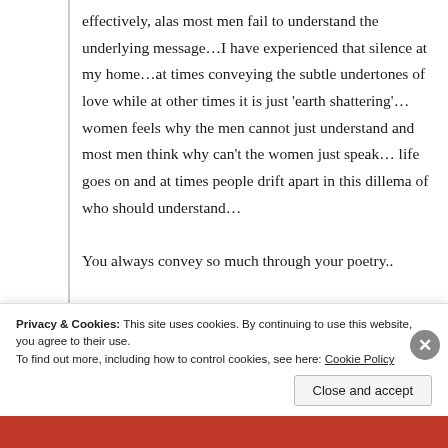effectively, alas most men fail to understand the underlying message…I have experienced that silence at my home…at times conveying the subtle undertones of love while at other times it is just 'earth shattering'… women feels why the men cannot just understand and most men think why can't the women just speak… life goes on and at times people drift apart in this dillema of who should understand…
You always convey so much through your poetry..
Privacy & Cookies: This site uses cookies. By continuing to use this website, you agree to their use.
To find out more, including how to control cookies, see here: Cookie Policy